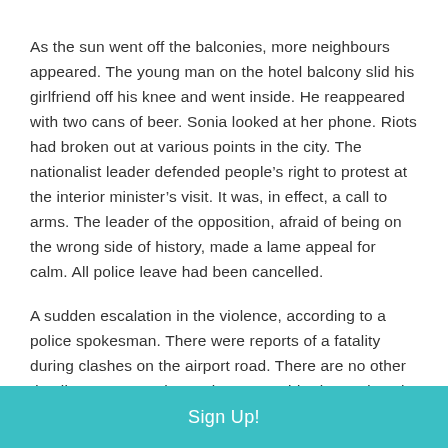As the sun went off the balconies, more neighbours appeared. The young man on the hotel balcony slid his girlfriend off his knee and went inside. He reappeared with two cans of beer. Sonia looked at her phone. Riots had broken out at various points in the city. The nationalist leader defended people's right to protest at the interior minister's visit. It was, in effect, a call to arms. The leader of the opposition, afraid of being on the wrong side of history, made a lame appeal for calm. All police leave had been cancelled.
A sudden escalation in the violence, according to a police spokesman. There were reports of a fatality during clashes on the airport road. There are no other details at present, the spokesman said. Please don't let it be Jonas. Sonia said out loud. She looked up at the
Sign Up!